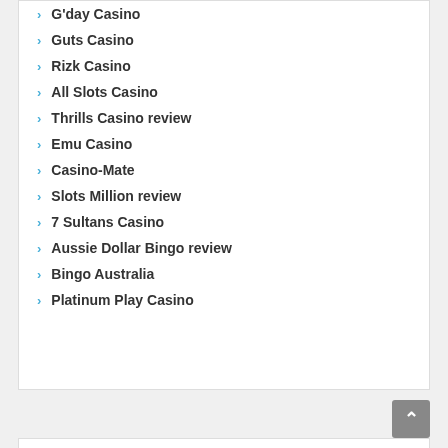G'day Casino
Guts Casino
Rizk Casino
All Slots Casino
Thrills Casino review
Emu Casino
Casino-Mate
Slots Million review
7 Sultans Casino
Aussie Dollar Bingo review
Bingo Australia
Platinum Play Casino